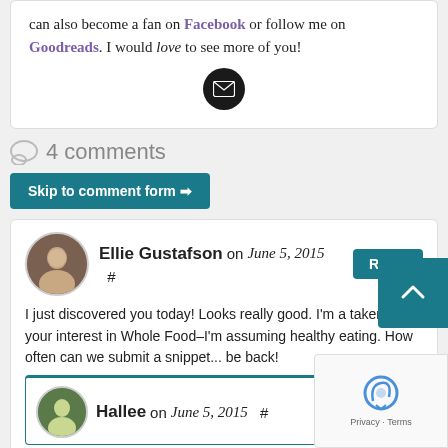can also become a fan on Facebook or follow me on Goodreads. I would love to see more of you!
[Figure (illustration): Black circular email icon button]
4 comments
Skip to comment form →
Ellie Gustafson on June 5, 2015  #  Reply
I just discovered you today! Looks really good. I'm a taken by your interest in Whole Food–I'm assuming healthy eating. How often can we submit a snippet... be back!
Hallee on June 5, 2015  #  Reply